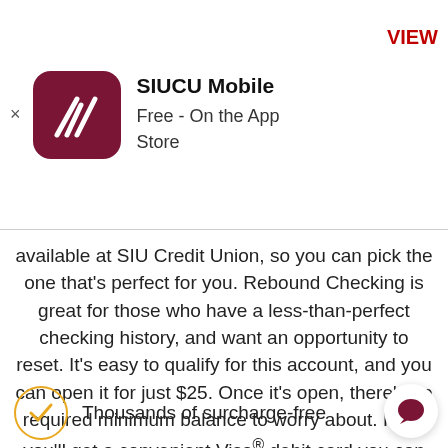[Figure (logo): SIUCU Mobile app icon - dark red/maroon rounded square with white triangle/mountain logo, app store banner with title SIUCU Mobile, Free - On the App Store, and VIEW button]
available at SIU Credit Union, so you can pick the one that’s perfect for you. Rebound Checking is great for those who have a less-than-perfect checking history, and want an opportunity to reset. It’s easy to qualify for this account, and you can open it for just $25. Once it’s open, there’s no required minimum balance to worry about. Plus, you’ll get a convenient Visa® debit card you can use pretty much anywhere.
Thousands of surcharge-free